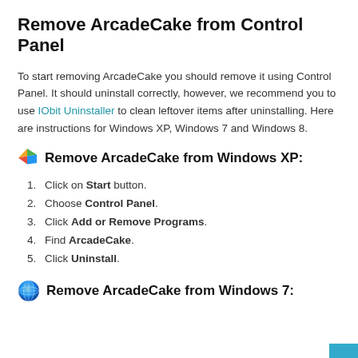Remove ArcadeCake from Control Panel
To start removing ArcadeCake you should remove it using Control Panel. It should uninstall correctly, however, we recommend you to use IObit Uninstaller to clean leftover items after uninstalling. Here are instructions for Windows XP, Windows 7 and Windows 8.
Remove ArcadeCake from Windows XP:
1. Click on Start button.
2. Choose Control Panel.
3. Click Add or Remove Programs.
4. Find ArcadeCake.
5. Click Uninstall.
Remove ArcadeCake from Windows 7: